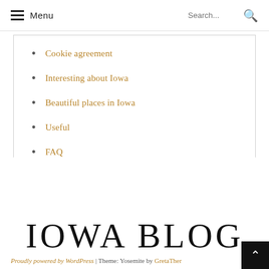Menu  Search...
Cookie agreement
Interesting about Iowa
Beautiful places in Iowa
Useful
FAQ
IOWA BLOG
Proudly powered by WordPress | Theme: Yosemite by GretaThemes